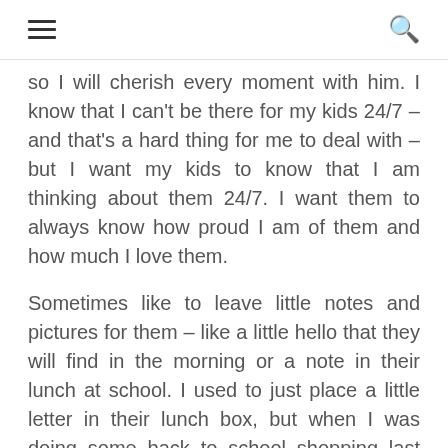☰  🔍
so I will cherish every moment with him. I know that I can't be there for my kids 24/7 – and that's a hard thing for me to deal with – but I want my kids to know that I am thinking about them 24/7. I want them to always know how proud I am of them and how much I love them.
Sometimes like to leave little notes and pictures for them – like a little hello that they will find in the morning or a note in their lunch at school. I used to just place a little letter in their lunch box, but when I was doing some back to school shopping last week I had an idea.